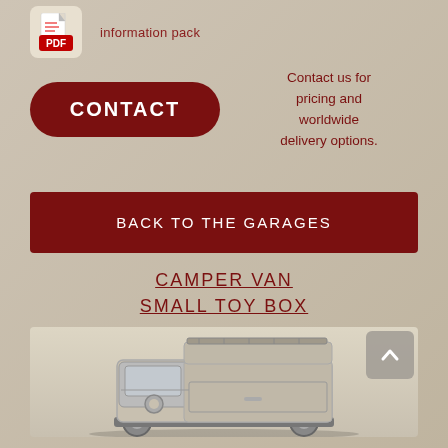[Figure (logo): Adobe PDF icon in a light beige rounded square]
information pack
[Figure (other): Dark red rounded rectangle CONTACT button]
Contact us for pricing and worldwide delivery options.
[Figure (other): Dark red rectangular BACK TO THE GARAGES button]
CAMPER VAN SMALL TOY BOX
[Figure (illustration): 3D render of a Volkswagen camper van style small toy box in beige/grey tones, open lid at top, decorative VW-style front panel]